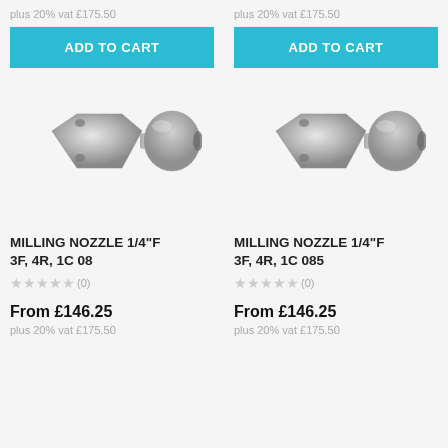plus 20% vat £175.50
plus 20% vat £175.50
ADD TO CART
ADD TO CART
[Figure (photo): Stainless steel milling nozzle 1/4"F 3F 4R 1C 08, bullet-shaped with side holes]
[Figure (photo): Stainless steel milling nozzle 1/4"F 3F 4R 1C 085, bullet-shaped with side holes]
MILLING NOZZLE 1/4"F 3F, 4R, 1C 08
MILLING NOZZLE 1/4"F 3F, 4R, 1C 085
★★★★★ (0)
★★★★★ (0)
From £146.25
From £146.25
plus 20% vat £175.50
plus 20% vat £175.50